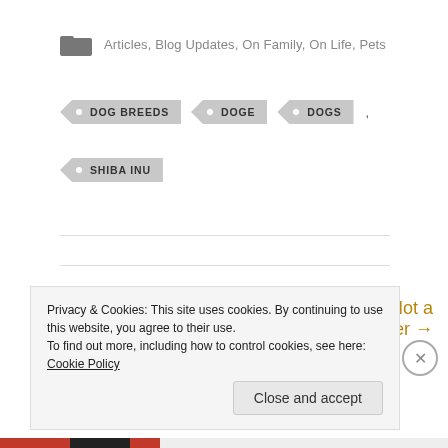Articles, Blog Updates, On Family, On Life, Pets
DOG BREEDS
DOGE
DOGS
SHIBA INU
← Murder in the Morning
Puppy Mills Are Not a Laughing Matter →
Privacy & Cookies: This site uses cookies. By continuing to use this website, you agree to their use.
To find out more, including how to control cookies, see here: Cookie Policy
Close and accept